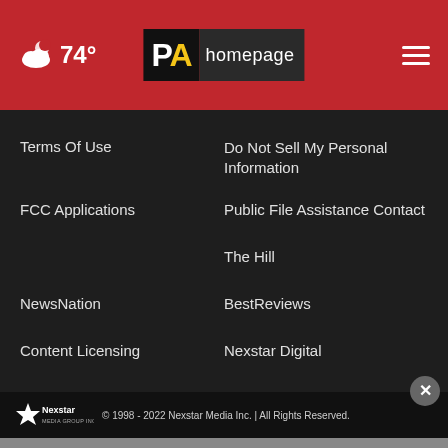74° PA homepage
Terms Of Use
Do Not Sell My Personal Information
FCC Applications
Public File Assistance Contact
The Hill
NewsNation
BestReviews
Content Licensing
Nexstar Digital
© 1998 - 2022 Nexstar Media Inc. | All Rights Reserved.
[Figure (photo): Advertisement banner: #MeetTheKids with photo of youth and text 'Watch the film. Hear their stories. Change a life. 1.800.585.SWAN. Paid for by Pennsylvania taxpayer dollars']